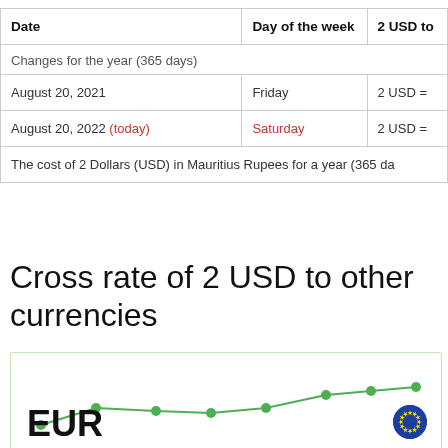| Date | Day of the week | 2 USD to |
| --- | --- | --- |
| August 20, 2021 | Friday | 2 USD = |
| August 20, 2022 (today) | Saturday | 2 USD = |
Cross rate of 2 USD to other currencies
[Figure (line-chart): Line chart showing cross rate trend with green line and dots, EUR label at bottom left and EU flag icon at bottom right]